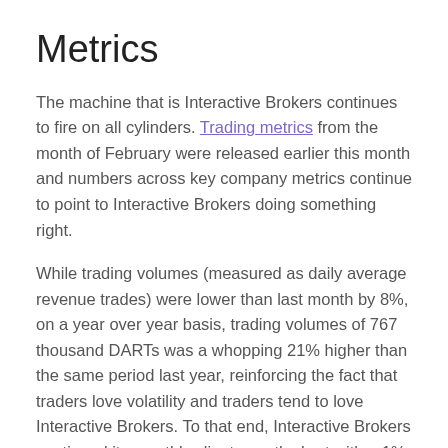Metrics
The machine that is Interactive Brokers continues to fire on all cylinders. Trading metrics from the month of February were released earlier this month and numbers across key company metrics continue to point to Interactive Brokers doing something right.
While trading volumes (measured as daily average revenue trades) were lower than last month by 8%, on a year over year basis, trading volumes of 767 thousand DARTs was a whopping 21% higher than the same period last year, reinforcing the fact that traders love volatility and traders tend to love Interactive Brokers. To that end, Interactive Brokers continued its monthly client growth chart with a 1% bump over January and 340 thousand clients now under their belt – with each client making an impressive 527